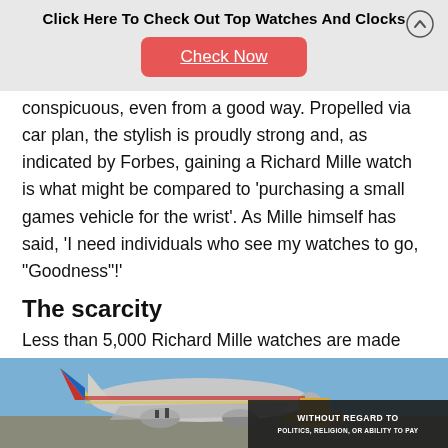Click Here To Check Out Top Watches And Clocks
Check Now
conspicuous, even from a good way. Propelled via car plan, the stylish is proudly strong and, as indicated by Forbes, gaining a Richard Mille watch is what might be compared to 'purchasing a small games vehicle for the wrist'. As Mille himself has said, 'I need individuals who see my watches to go, "Goodness"!'
The scarcity
Less than 5,000 Richard Mille watches are made every year. For a youthful brand, this is a moderately
[Figure (photo): Airplane on tarmac being loaded with cargo, with a dark overlay banner reading WITHOUT REGARD TO POLITICS, RELIGION, OR ABILITY TO PAY]